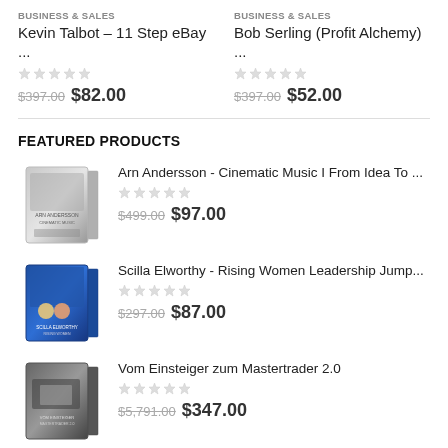BUSINESS & SALES
Kevin Talbot – 11 Step eBay ...
$397.00  $82.00
BUSINESS & SALES
Bob Serling (Profit Alchemy) ...
$397.00  $52.00
FEATURED PRODUCTS
[Figure (illustration): Silver/grey 3D product box thumbnail for Arn Andersson course]
Arn Andersson - Cinematic Music I From Idea To ...
$499.00  $97.00
[Figure (illustration): Blue 3D product box thumbnail for Scilla Elworthy course]
Scilla Elworthy - Rising Women Leadership Jump...
$297.00  $87.00
[Figure (illustration): Dark grey 3D product box thumbnail for Vom Einsteiger zum Mastertrader 2.0]
Vom Einsteiger zum Mastertrader 2.0
$5,791.00  $347.00